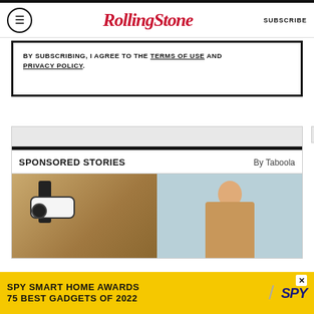RollingStone   SUBSCRIBE
BY SUBSCRIBING, I AGREE TO THE TERMS OF USE AND PRIVACY POLICY.
SPONSORED STORIES   By Taboola
[Figure (photo): Left: outdoor security camera mounted on textured stone wall with bracket. Right: smiling young woman with long hair holding a blue credit card against light blue background.]
[Figure (infographic): Yellow advertisement banner: SPY SMART HOME AWARDS / 75 BEST GADGETS OF 2022 with SPY logo and diagonal slash graphic]